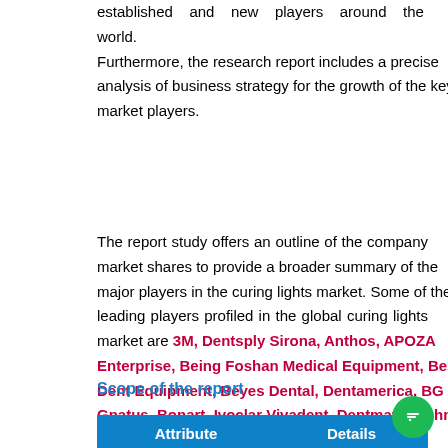established and new players around the world. Furthermore, the research report includes a precise analysis of business strategy for the growth of the key market players.
The report study offers an outline of the company market shares to provide a broader summary of the major players in the curing lights market. Some of the leading players profiled in the global curing lights market are 3M, Dentsply Sirona, Anthos, APOZA Enterprise, Being Foshan Medical Equipment, Best Dent Equipment, Beyes Dental, Dentamerica, BG LIGHT, Gnatus, Bonart, Ivoclar Vivadent, Dentmate Technology, Foshan, DentLigh, among others.
Scope of the report
| Attribute | Details |
| --- | --- |